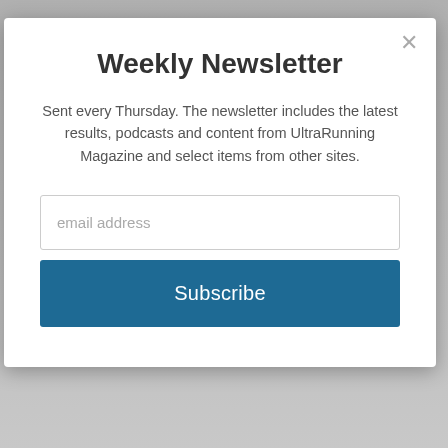Weekly Newsletter
Sent every Thursday. The newsletter includes the latest results, podcasts and content from UltraRunning Magazine and select items from other sites.
[Figure (screenshot): Email address input field with placeholder text 'email address']
[Figure (screenshot): Subscribe button in dark blue]
| Place | Div | Name / Category | Time |
| --- | --- | --- | --- |
| 112 | 97 | Byron Backer / M 40-49 | 24:31:00 |
| 113 | 98 | Rick Miller / M 50-59 | 24:31:00 |
|  |  | Peter Farrell |  |